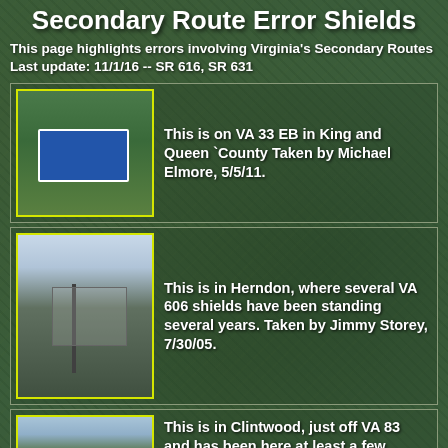Secondary Route Error Shields
This page highlights errors involving Virginia's Secondary Routes
Last update: 11/1/16 -- SR 616, SR 631
[Figure (photo): Road sign on VA 33 EB in King and Queen County, blue highway sign visible]
This is on VA 33 EB in King and Queen `County Taken by Michael Elmore, 5/5/11.
[Figure (photo): Street scene in Herndon showing VA 606 shields on a pole at an intersection]
This is in Herndon, where several VA 606 shields have been standing several years. Taken by Jimmy Storey, 7/30/05.
[Figure (photo): Street scene in Clintwood just off VA 83]
This is in Clintwood, just off VA 83 and has been here at least a few